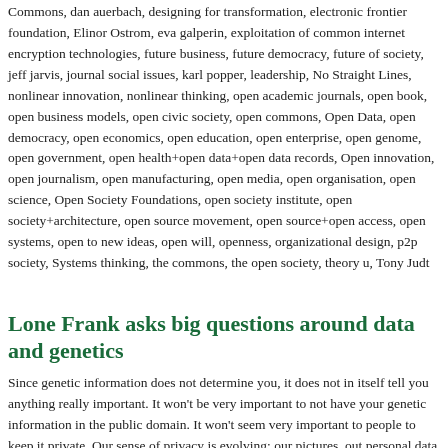Commons, dan auerbach, designing for transformation, electronic frontier foundation, Elinor Ostrom, eva galperin, exploitation of common internet encryption technologies, future business, future democracy, future of society, jeff jarvis, journal social issues, karl popper, leadership, No Straight Lines, nonlinear innovation, nonlinear thinking, open academic journals, open book, open business models, open civic society, open commons, Open Data, open democracy, open economics, open education, open enterprise, open genome, open government, open health+open data+open data records, Open innovation, open journalism, open manufacturing, open media, open organisation, open science, Open Society Foundations, open society institute, open society+architecture, open source movement, open source+open access, open systems, open to new ideas, open will, openness, organizational design, p2p society, Systems thinking, the commons, the open society, theory u, Tony Judt
Lone Frank asks big questions around data and genetics
Since genetic information does not determine you, it does not in itself tell you anything really important. It won't be very important to not have your genetic information in the public domain. It won't seem very important to people to keep it private. Our sense of privacy is evolving; our pictures, out personal data our views of what needs to be kept private change. So why would our genetic